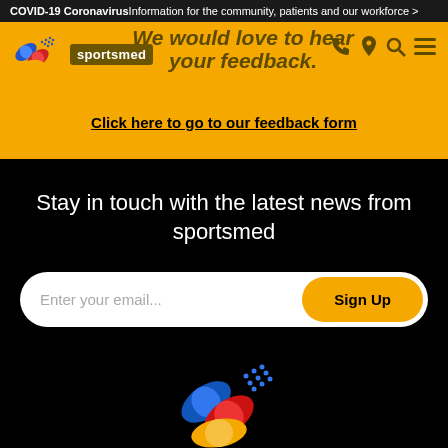COVID-19 Coronavirus Information for the community, patients and our workforce >
[Figure (logo): Sportsmed logo with coloured pill/bandage icon and text 'sportsmed' on dark background]
We would love to hear your feedback.
Click here to go to our feedback form
Stay in touch with the latest news from sportsmed
Enter your email...  Sign Up
[Figure (logo): Sportsmed pill/bandage logo icon in blue, red, and yellow on black background]